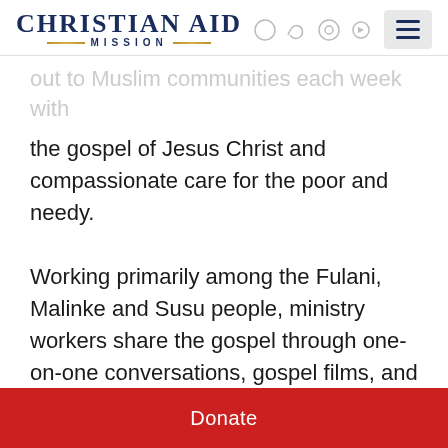Christian Aid Mission
out to Muslim communities each week with the gospel of Jesus Christ and compassionate care for the poor and needy.
Working primarily among the Fulani, Malinke and Susu people, ministry workers share the gospel through one-on-one conversations, gospel films, and evangelistic events. As people from these communities respond to the gospel, the ministry plants churches and begins training believers for church leadership through their Bible school.
Donate